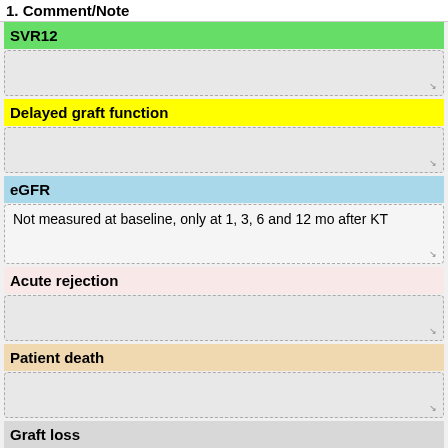1. Comment/Note
SVR12
Delayed graft function
eGFR
Not measured at baseline, only at 1, 3, 6 and 12 mo after KT
Acute rejection
Patient death
Graft loss